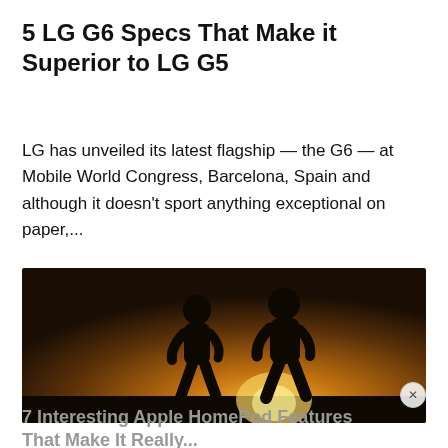5 LG G6 Specs That Make it Superior to LG G5
LG has unveiled its latest flagship — the G6 — at Mobile World Congress, Barcelona, Spain and although it doesn't sport anything exceptional on paper,...
[Figure (photo): Two people running in silhouette against a bright sunset/sunrise sky with golden light]
7 Interesting Apple HomePod Features That Make It Really...